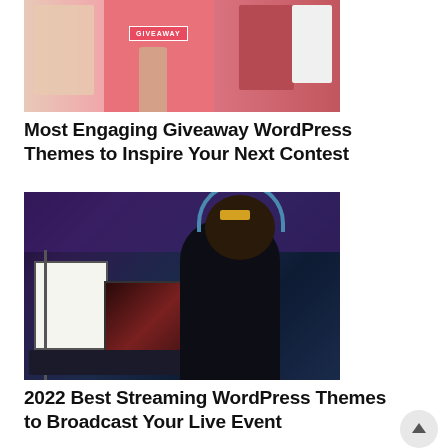[Figure (photo): A fashion/giveaway photo showing clothing on hangers against a pink background with a hand holding up a GIVEAWAY badge/sign]
Most Engaging Giveaway WordPress Themes to Inspire Your Next Contest
[Figure (photo): A gamer/streamer sitting at a gaming setup with multiple monitors displaying game content, wearing headphones, with a microphone stand visible]
2022 Best Streaming WordPress Themes to Broadcast Your Live Event